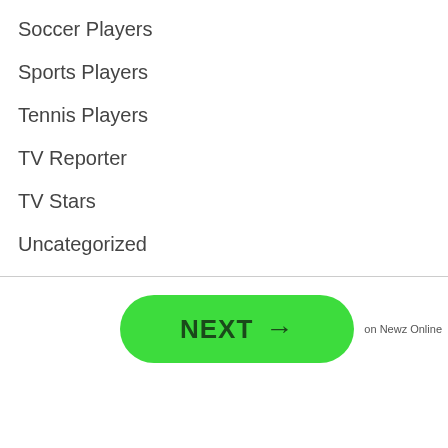Soccer Players
Sports Players
Tennis Players
TV Reporter
TV Stars
Uncategorized
[Figure (other): Green rounded button labeled NEXT with arrow, followed by small text 'on Newz Online']